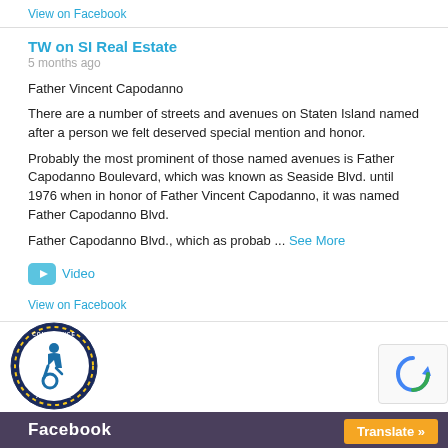View on Facebook
TW on SI Real Estate
5 months ago
Father Vincent Capodanno
There are a number of streets and avenues on Staten Island named after a person we felt deserved special mention and honor.
Probably the most prominent of those named avenues is Father Capodanno Boulevard, which was known as Seaside Blvd. until 1976 when in honor of Father Vincent Capodanno, it was named Father Capodanno Blvd.
Father Capodanno Blvd., which as probab ... See More
Video
View on Facebook
Facebook